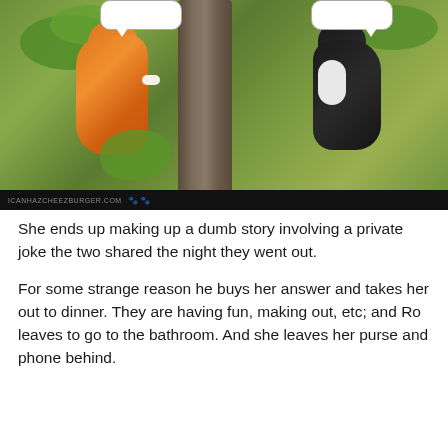[Figure (photo): Two kittens climbing a tree trunk — an orange and white kitten on the left, a black and white kitten on the right — with speech bubbles above each. Green foliage background. icanhazcheezburger.com watermark bar at the bottom.]
She ends up making up a dumb story involving a private joke the two shared the night they went out.
For some strange reason he buys her answer and takes her out to dinner. They are having fun, making out, etc; and Ro leaves to go to the bathroom. And she leaves her purse and phone behind.